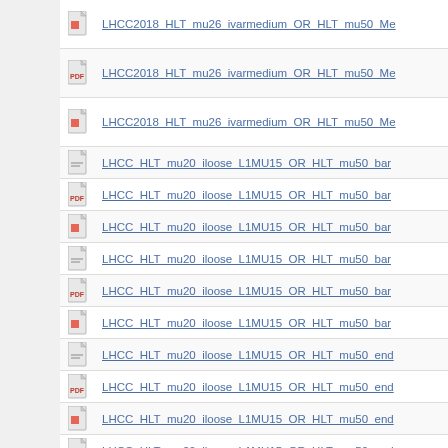LHCC2018_HLT_mu26_ivarmedium_OR_HLT_mu50_Me...
LHCC2018_HLT_mu26_ivarmedium_OR_HLT_mu50_Me...
LHCC2018_HLT_mu26_ivarmedium_OR_HLT_mu50_Me...
LHCC_HLT_mu20_iloose_L1MU15_OR_HLT_mu50_bar...
LHCC_HLT_mu20_iloose_L1MU15_OR_HLT_mu50_bar...
LHCC_HLT_mu20_iloose_L1MU15_OR_HLT_mu50_bar...
LHCC_HLT_mu20_iloose_L1MU15_OR_HLT_mu50_bar...
LHCC_HLT_mu20_iloose_L1MU15_OR_HLT_mu50_bar...
LHCC_HLT_mu20_iloose_L1MU15_OR_HLT_mu50_bar...
LHCC_HLT_mu20_iloose_L1MU15_OR_HLT_mu50_end...
LHCC_HLT_mu20_iloose_L1MU15_OR_HLT_mu50_end...
LHCC_HLT_mu20_iloose_L1MU15_OR_HLT_mu50_end...
LHCC_HLT_mu20_iloose_L1MU15_OR_HLT_mu50_end...
LHCC_HLT_mu20_iloose_L1MU15_OR_HLT_mu50_end...
LHCC_HLT_mu20_iloose_L1MU15_OR_HLT_mu50_end...